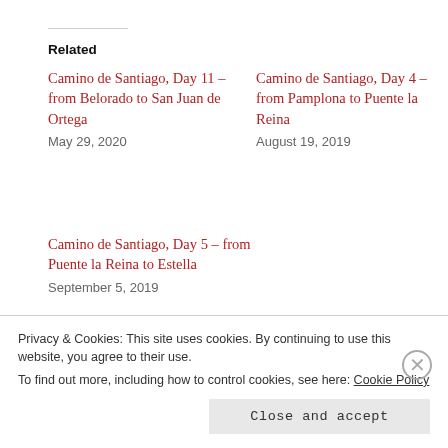Related
Camino de Santiago, Day 11 – from Belorado to San Juan de Ortega
May 29, 2020
Camino de Santiago, Day 4 – from Pamplona to Puente la Reina
August 19, 2019
Camino de Santiago, Day 5 – from Puente la Reina to Estella
September 5, 2019
CAMINO
CORONAVIRUS
HIKING
ITALY
LIFE
SPAIN
THOUGHTS
TRAVEL BLOG
TRAVELING
Privacy & Cookies: This site uses cookies. By continuing to use this website, you agree to their use.
To find out more, including how to control cookies, see here: Cookie Policy